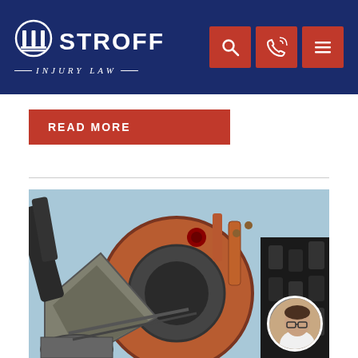STROFF INJURY LAW
READ MORE
[Figure (photo): Close-up photograph of large industrial heavy machinery with dark metal gears, rust-colored components, and mechanical parts against a blue sky background]
[Figure (photo): Circular avatar portrait of a middle-aged man wearing glasses, with a white shirt, overlaid on the lower-right of the machinery image]